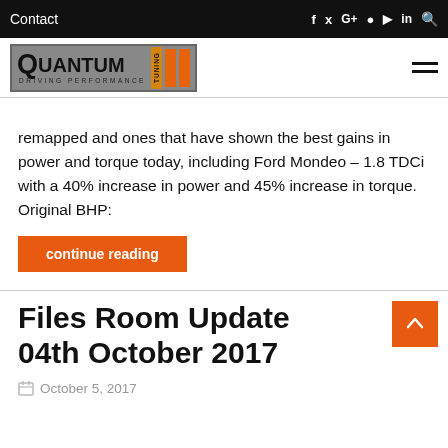Contact
[Figure (logo): Quantum Tuning – Driving Performance logo with orange stripes]
remapped and ones that have shown the best gains in power and torque today, including Ford Mondeo – 1.8 TDCi with a 40% increase in power and 45% increase in torque. Original BHP:
continue reading
Files Room Update 04th October 2017
October 5, 2017